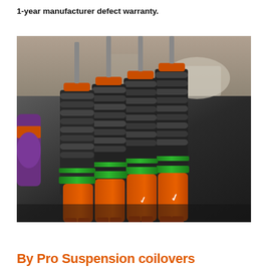1-year manufacturer defect warranty.
[Figure (photo): Photo of four coilover suspension assemblies with orange/red aluminum bodies, black coil springs, and green anodized adjustment rings, arranged on a dark wooden surface. A white logo is visible on the orange bodies.]
By Pro Suspension coilovers